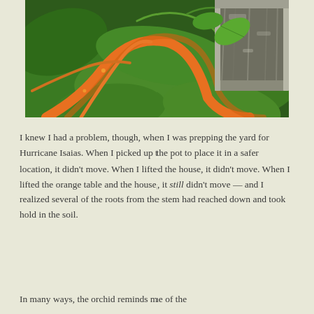[Figure (photo): Close-up photograph of green tropical orchid leaves and vines with bright orange elements, against a weathered silver/grey wooden frame or surface in the background.]
I knew I had a problem, though, when I was prepping the yard for Hurricane Isaias. When I picked up the pot to place it in a safer location, it didn't move. When I lifted the house, it didn't move. When I lifted the orange table and the house, it still didn't move — and I realized several of the roots from the stem had reached down and took hold in the soil.
In many ways, the orchid reminds me of the